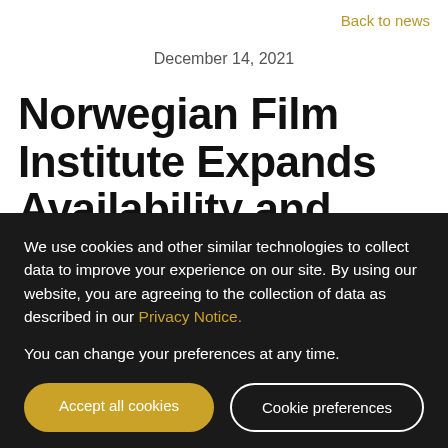Back to news
December 14, 2021
Norwegian Film Institute Expands Availability and Boosts Global Demand for Norwegian Films with
We use cookies and other similar technologies to collect data to improve your experience on our site. By using our website, you are agreeing to the collection of data as described in our Privacy Notice.
You can change your preferences at any time.
Accept all cookies
Cookie preferences